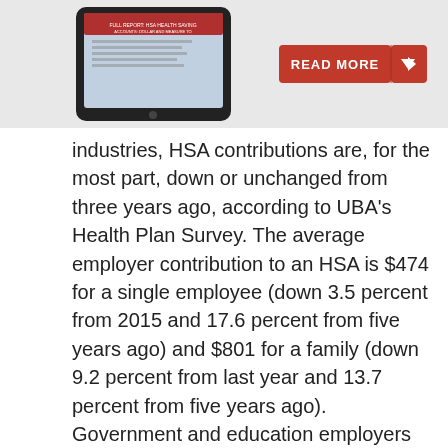[Figure (screenshot): Tablet device showing a report cover with a red 'READ MORE' button with arrow on a light gray background]
industries, HSA contributions are, for the most part, down or unchanged from three years ago, according to UBA's Health Plan Survey. The average employer contribution to an HSA is $474 for a single employee (down 3.5 percent from 2015 and 17.6 percent from five years ago) and $801 for a family (down 9.2 percent from last year and 13.7 percent from five years ago). Government and education employers are the only industries with average single contributions well above average and on the rise.
Government employees had the most generous contributions for singles at $850, on average, up from $834 in 2015. This industry also has the highest employer contributions for families, on average, at $1,595 (though that is down from 1,636